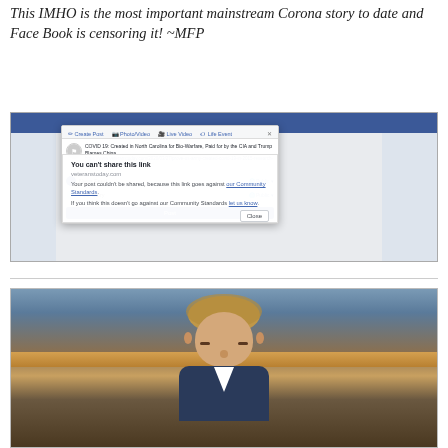This IMHO is the most important mainstream Corona story to date and Face Book is censoring it! ~MFP
[Figure (screenshot): Screenshot of a Facebook post sharing a Veterans Today article about COVID-19, with an overlay dialog box saying 'You can't share this link' because it goes against Community Standards, with a Close button.]
[Figure (photo): Photograph of a man with curly hair, head bowed down, seated in what appears to be a government hearing room with wood paneling visible in the background.]